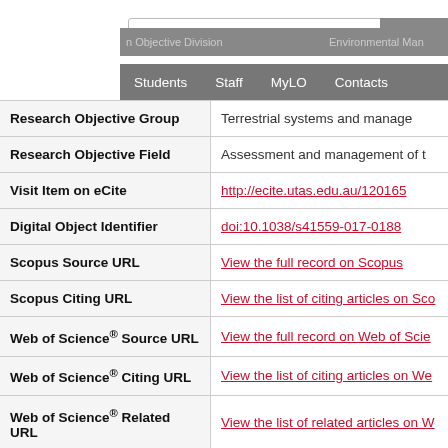[Figure (logo): UTAS University of Tasmania red logo with lion crest]
| Field | Value |
| --- | --- |
| Research Objective Division | Environmental Management |
| Research Objective Group | Terrestrial systems and management |
| Research Objective Field | Assessment and management of te... |
| Visit Item on eCite | http://ecite.utas.edu.au/120165 |
| Digital Object Identifier | doi:10.1038/s41559-017-0188 |
| Scopus Source URL | View the full record on Scopus |
| Scopus Citing URL | View the list of citing articles on Sco... |
| Web of Science® Source URL | View the full record on Web of Scie... |
| Web of Science® Citing URL | View the list of citing articles on We... |
| Web of Science® Related URL | View the list of related articles on W... |
| Number of Times Cited | 34 |